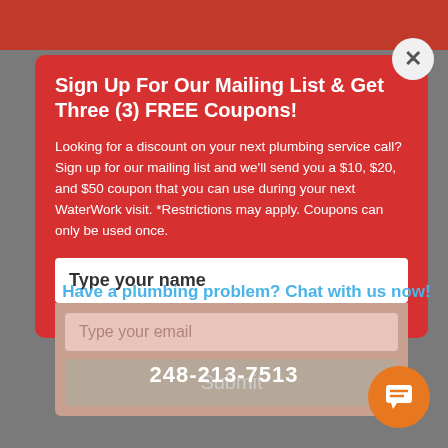Sign Up For Our Mailing List & Get Three (3) FREE Coupons!
Looking for a discount on your next plumbing service call? Sign up for our mailing list and we'll send you a $10, $20, and $50 coupon that you can use during your next WaterWork visit. *Restrictions may apply. Coupons can only be used once.
Type your name
Type your email
Submit
Have a plumbing problem? Chat with us now!
248-213-7513